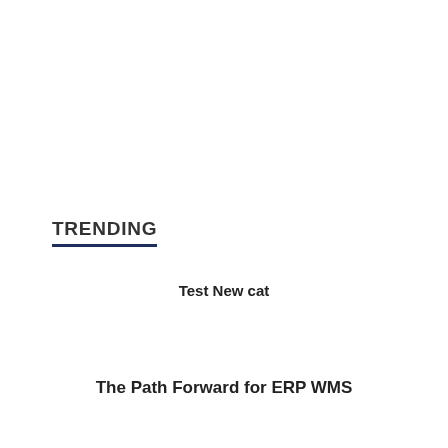TRENDING
Test New cat
The Path Forward for ERP WMS